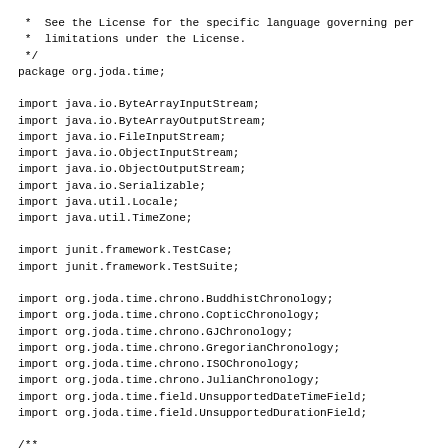*  See the License for the specific language governing per
 *  limitations under the License.
 */
package org.joda.time;

import java.io.ByteArrayInputStream;
import java.io.ByteArrayOutputStream;
import java.io.FileInputStream;
import java.io.ObjectInputStream;
import java.io.ObjectOutputStream;
import java.io.Serializable;
import java.util.Locale;
import java.util.TimeZone;

import junit.framework.TestCase;
import junit.framework.TestSuite;

import org.joda.time.chrono.BuddhistChronology;
import org.joda.time.chrono.CopticChronology;
import org.joda.time.chrono.GJChronology;
import org.joda.time.chrono.GregorianChronology;
import org.joda.time.chrono.ISOChronology;
import org.joda.time.chrono.JulianChronology;
import org.joda.time.field.UnsupportedDateTimeField;
import org.joda.time.field.UnsupportedDurationField;

/**
 * This class is a Junit unit test for serialization.
 *
 * @author Stephen Colebourne
 */
public class TestSerialization extends TestCase {